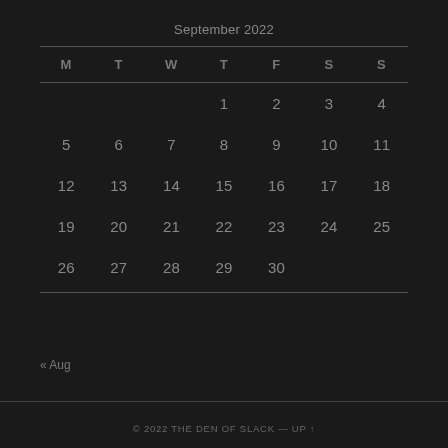September 2022
| M | T | W | T | F | S | S |
| --- | --- | --- | --- | --- | --- | --- |
|  |  |  | 1 | 2 | 3 | 4 |
| 5 | 6 | 7 | 8 | 9 | 10 | 11 |
| 12 | 13 | 14 | 15 | 16 | 17 | 18 |
| 19 | 20 | 21 | 22 | 23 | 24 | 25 |
| 26 | 27 | 28 | 29 | 30 |  |  |
« Aug
© 2022 THE DEN OF SLACK — UP ↑